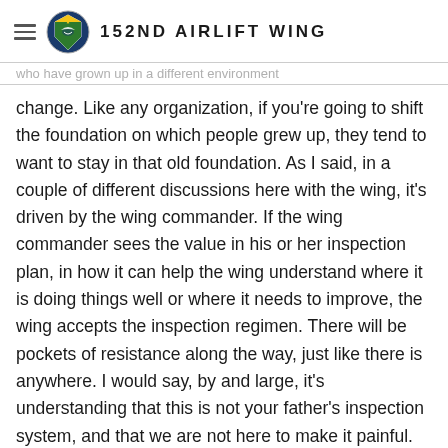152ND AIRLIFT WING
who have grown up in a different environment change. Like any organization, if you're going to shift the foundation on which people grew up, they tend to want to stay in that old foundation. As I said, in a couple of different discussions here with the wing, it's driven by the wing commander. If the wing commander sees the value in his or her inspection plan, in how it can help the wing understand where it is doing things well or where it needs to improve, the wing accepts the inspection regimen. There will be pockets of resistance along the way, just like there is anywhere. I would say, by and large, it's understanding that this is not your father's inspection system, and that we are not here to make it painful. It's not about the five days or six days that we are on the ground, it's the preceding two years for an active duty or up to five years for an Air National Guard unit. What has transpired in that time frame?